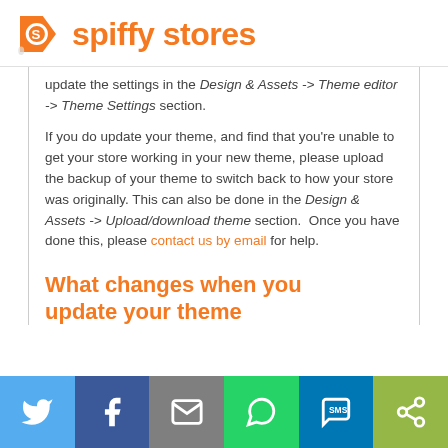spiffy stores
update the settings in the Design & Assets -> Theme editor -> Theme Settings section.

If you do update your theme, and find that you're unable to get your store working in your new theme, please upload the backup of your theme to switch back to how your store was originally. This can also be done in the Design & Assets -> Upload/download theme section. Once you have done this, please contact us by email for help.
What changes when you update your theme
[Figure (infographic): Social sharing footer bar with icons for Twitter, Facebook, Email, WhatsApp, SMS, and ShareThis]